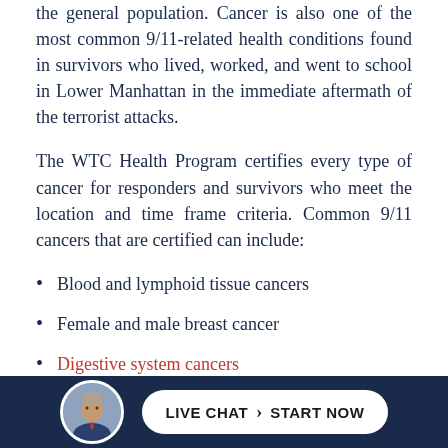the general population. Cancer is also one of the most common 9/11-related health conditions found in survivors who lived, worked, and went to school in Lower Manhattan in the immediate aftermath of the terrorist attacks.
The WTC Health Program certifies every type of cancer for responders and survivors who meet the location and time frame criteria. Common 9/11 cancers that are certified can include:
Blood and lymphoid tissue cancers
Female and male breast cancer
Digestive system cancers
[Figure (infographic): Dark navy footer bar with a circular avatar photo of an older man and a white pill-shaped button reading LIVE CHAT > START NOW]